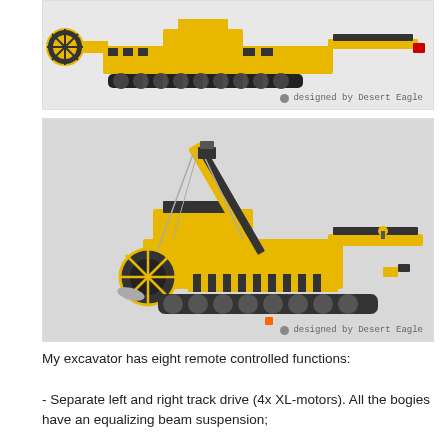[Figure (photo): LEGO Technic bucket wheel excavator model viewed from the side, yellow and black, on tracks. Watermark: 'designed by Desert Eagle']
[Figure (photo): LEGO Technic bucket wheel excavator model viewed from front-side angle, showing the large bucket wheel arm raised diagonally, yellow and black construction, on tracks. Watermark: 'designed by Desert Eagle']
My excavator has eight remote controlled functions:
- Separate left and right track drive (4x XL-motors). All the bogies have an equalizing beam suspension;